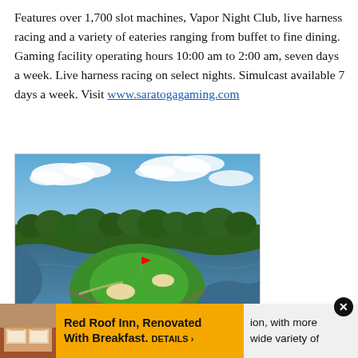Features over 1,700 slot machines, Vapor Night Club, live harness racing and a variety of eateries ranging from buffet to fine dining. Gaming facility operating hours 10:00 am to 2:00 am, seven days a week. Live harness racing on select nights. Simulcast available 7 days a week. Visit www.saratogagaming.com
[Figure (photo): Aerial photograph of a golf course hole surrounded by water, showing a lush green island green with sand bunkers, winding waterways, and trees in the background under a partly cloudy sky.]
Red Roof Inn, Renovated With Breakfast. DETAILS › ion, with more wide variety of